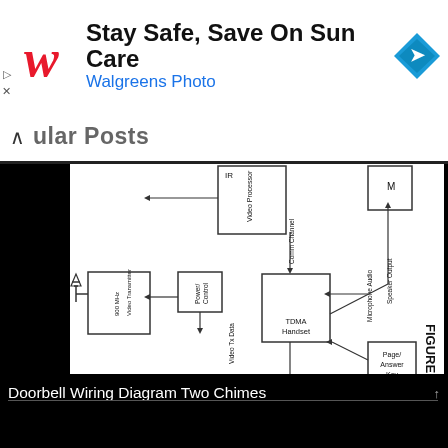[Figure (other): Walgreens advertisement banner: Stay Safe, Save On Sun Care - Walgreens Photo, with Walgreens cursive logo and navigation diamond icon]
ular Posts
[Figure (schematic): Block diagram (FIGURE 2) showing a system with: 900 MHz Video Transmitter connected via antenna, Power/Control block, Video Processor block (partial, labeled IR at top), Video Tx Data line, Comm Channel line going to TDMA Handset block, Microphone Audio line, Speaker Output line going to an unlabeled block (M) at top right, Page/Answer Key block connected at bottom right, and /Control line at bottom. Arrows indicate signal flow between blocks.]
Doorbell Wiring Diagram Two Chimes